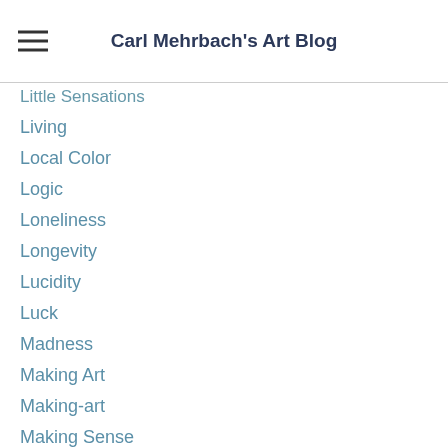Carl Mehrbach's Art Blog
Little Sensations
Living
Local Color
Logic
Loneliness
Longevity
Lucidity
Luck
Madness
Making Art
Making-art
Making Sense
Malaprop
Management
Mandate
Mantra
Manufacturing
Marks